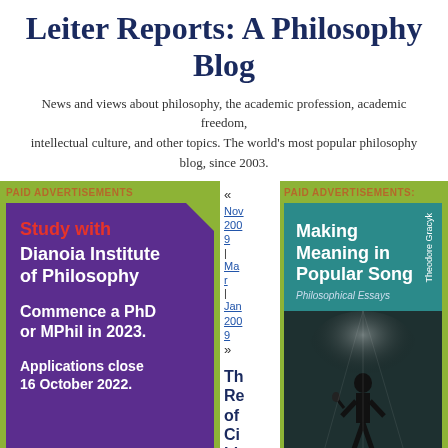Leiter Reports: A Philosophy Blog
News and views about philosophy, the academic profession, academic freedom, intellectual culture, and other topics. The world's most popular philosophy blog, since 2003.
PAID ADVERTISEMENTS
[Figure (illustration): Advertisement for Dianoia Institute of Philosophy: 'Study with Dianoia Institute of Philosophy. Commence a PhD or MPhil in 2023. Applications close 16 October 2022.' Purple background with diagonal cut corner.]
« Nov 2009 | Mar | Jan 2009 »
Th Re of Ci Li
PAID ADVERTISEMENTS:
[Figure (illustration): Book cover for 'Making Meaning in Popular Song: Philosophical Essays' by Theodore Gracyk. Teal background with white bold title text, silhouette of singer performing on stage.]